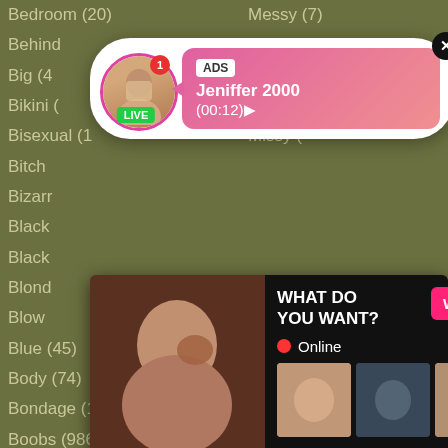Bedroom (20)
Messy (7)
Behind
Big (4
Bikini (
Bisexual (1
Bitch
Bizarr
Black
Black
Blond
Blow
Blue (45)
Monster (43)
Body (74)
Morning (38)
Bondage (155)
Mouthful (16)
Boobs (986)
Muscle (59)
Boots (22)
Nasty (23)
Booty (167)
Nature (20)
Boss (89)
Naughty (91)
[Figure (screenshot): Live notification ad popup for Jeniffer 2000 with avatar, LIVE badge, ADS label, pink gradient body showing name and time (00:12)]
[Figure (screenshot): Video ad popup showing adult content image on left, WHAT DO YOU WANT? text, WATCH button, Online indicator, thumbnails, and text: Cumming, ass fucking, squirt or... • ADS]